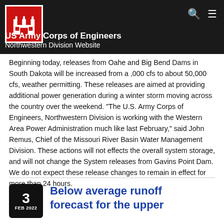US Army Corps of Engineers Northwestern Division Website
Beginning today, releases from Oahe and Big Bend Dams in South Dakota will be increased from a ,000 cfs to about 50,000 cfs, weather permitting. These releases are aimed at providing additional power generation during a winter storm moving across the country over the weekend. "The U.S. Army Corps of Engineers, Northwestern Division is working with the Western Area Power Administration much like last February," said John Remus, Chief of the Missouri River Basin Water Management Division. These actions will not effects the overall system storage, and will not change the System releases from Gavins Point Dam. We do not expect these release changes to remain in effect for more than 24 hours.
Below average runoff forecast for the upper